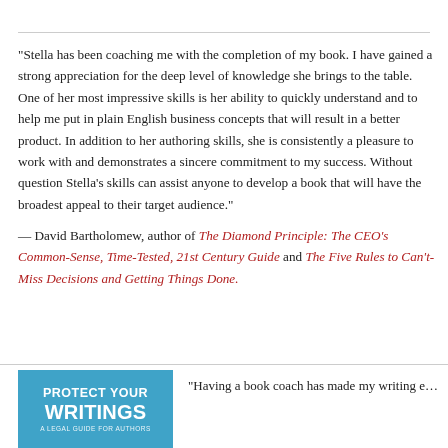“Stella has been coaching me with the completion of my book. I have gained a strong appreciation for the deep level of knowledge she brings to the table. One of her most impressive skills is her ability to quickly understand and to help me put in plain English business concepts that will result in a better product. In addition to her authoring skills, she is consistently a pleasure to work with and demonstrates a sincere commitment to my success. Without question Stella’s skills can assist anyone to develop a book that will have the broadest appeal to their target audience.”
— David Bartholomew, author of The Diamond Principle: The CEO’s Common-Sense, Time-Tested, 21st Century Guide and The Five Rules to Can’t-Miss Decisions and Getting Things Done.
[Figure (illustration): Book cover for 'Protect Your Writings: A Legal Guide for Authors' with blue background and white bold text]
“Having a book coach has made my writing e…